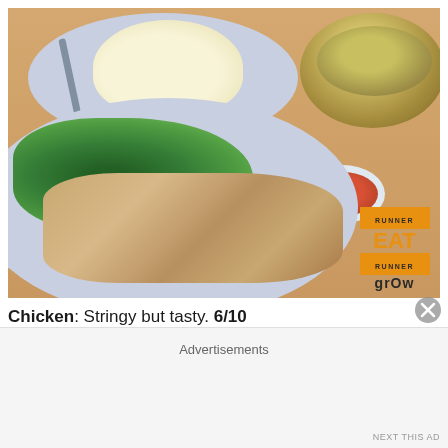[Figure (photo): A plate of Hainanese chicken rice with steamed chicken pieces, green leafy vegetables (kai lan), rice molded into a dome shape, a bowl of soup, and a small dish of chilli sauce. A logo overlay in the bottom right reads 'EAT GROW'.]
Chicken: Stringy but tasty. 6/10
Rice: Mildly flavored but a good bite. 6.5/10
Chilli: Super tasty. 6.5/10
Advertisements